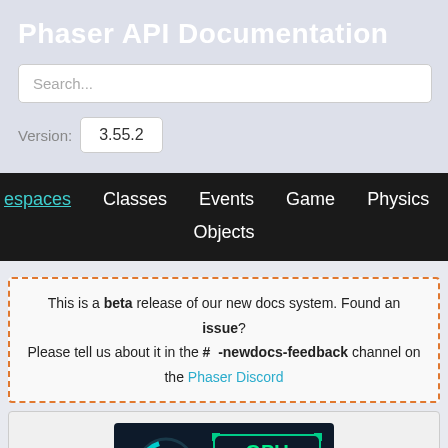Phaser API Documentation
Search...
Version: 3.55.2
Namespaces  Classes  Events  Game  Physics  Scenes  Change Objects
This is a beta release of our new docs system. Found an issue? Please tell us about it in the #  -newdocs-feedback channel on the Phaser Discord
[Figure (screenshot): GPU optimizer dashboard screenshot showing a speedometer and GPU label on a dark background]